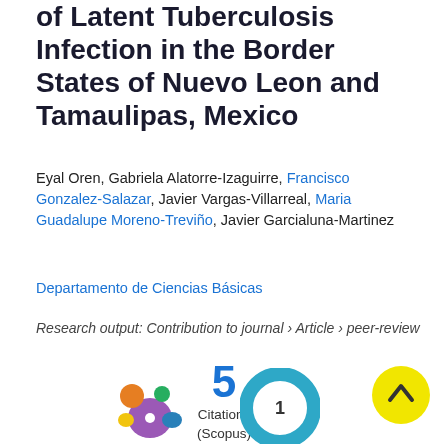of Latent Tuberculosis Infection in the Border States of Nuevo Leon and Tamaulipas, Mexico
Eyal Oren, Gabriela Alatorre-Izaguirre, Francisco Gonzalez-Salazar, Javier Vargas-Villarreal, Maria Guadalupe Moreno-Treviño, Javier Garcialuna-Martinez
Departamento de Ciencias Básicas
Research output: Contribution to journal › Article › peer-review
[Figure (infographic): Citation count showing '5' in blue, labeled 'Citations (Scopus)' below; bottom row shows colorful metric icons (Altmetric donut, a blue donut with '1') and a yellow scroll-to-top button]
Citations (Scopus)